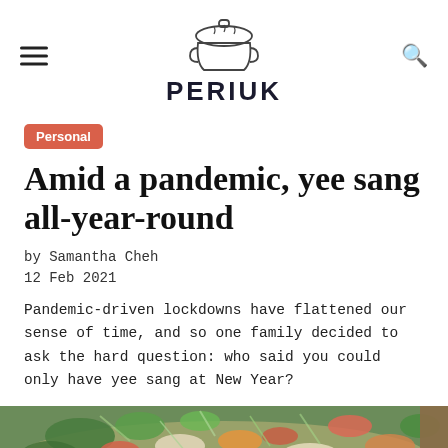PERIUK
Personal
Amid a pandemic, yee sang all-year-round
by Samantha Cheh
12 Feb 2021
Pandemic-driven lockdowns have flattened our sense of time, and so one family decided to ask the hard question: who said you could only have yee sang at New Year?
[Figure (photo): Close-up photo of yee sang dish with colorful fresh ingredients including vegetables, fish, and garnishes]